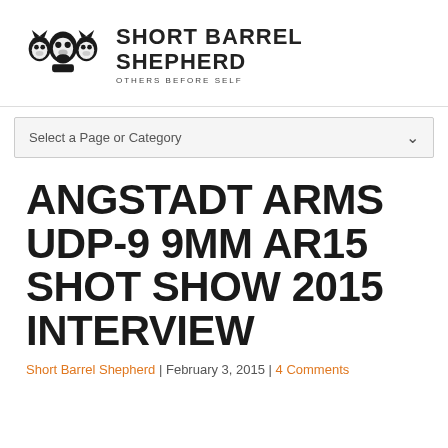SHORT BARREL SHEPHERD | OTHERS BEFORE SELF
Select a Page or Category
ANGSTADT ARMS UDP-9 9MM AR15 SHOT SHOW 2015 INTERVIEW
Short Barrel Shepherd | February 3, 2015 | 4 Comments